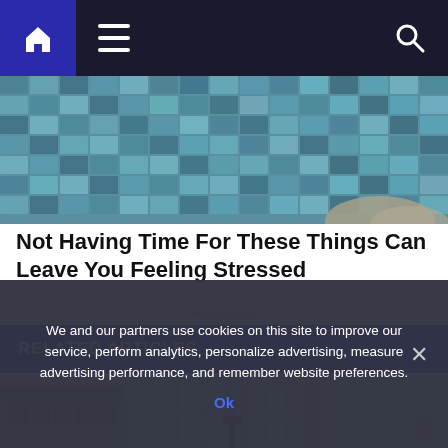[Figure (screenshot): Navigation bar with dark background, blue home icon box, hamburger menu, and search icon on the right]
[Figure (photo): Close-up photo of a glass building facade with blue reflective tiles or windows]
Not Having Time For These Things Can Leave You Feeling Stressed
Herbeauty
RELATED ARTICLES
[Figure (photo): City skyline with multiple modern glass skyscrapers]
We and our partners use cookies on this site to improve our service, perform analytics, personalize advertising, measure advertising performance, and remember website preferences.
Ok